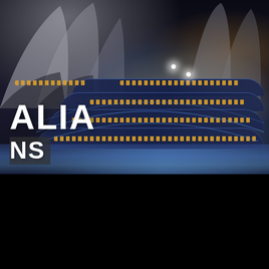[Figure (photo): Night-time photograph of Sydney, Australia, showing the Sydney Opera House sails in the upper left and a large illuminated cruise ship or ferry with multiple glowing decks reflected in the dark harbor water. Bold white text overlay reads 'ALIA' and 'NS' on the left side of the image.]
ALIA
NS